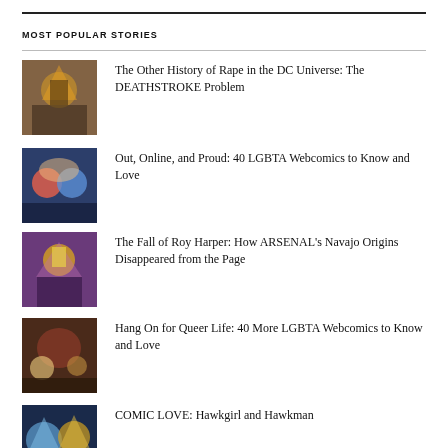MOST POPULAR STORIES
The Other History of Rape in the DC Universe: The DEATHSTROKE Problem
Out, Online, and Proud: 40 LGBTA Webcomics to Know and Love
The Fall of Roy Harper: How ARSENAL's Navajo Origins Disappeared from the Page
Hang On for Queer Life: 40 More LGBTA Webcomics to Know and Love
COMIC LOVE: Hawkgirl and Hawkman